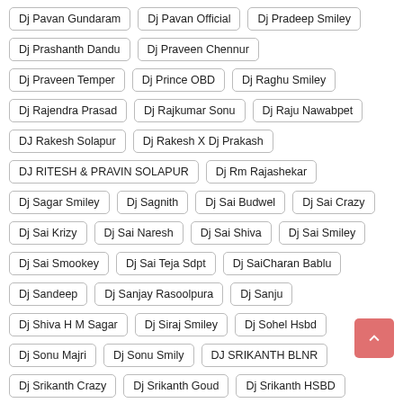Dj Pavan Gundaram
Dj Pavan Official
Dj Pradeep Smiley
Dj Prashanth Dandu
Dj Praveen Chennur
Dj Praveen Temper
Dj Prince OBD
Dj Raghu Smiley
Dj Rajendra Prasad
Dj Rajkumar Sonu
Dj Raju Nawabpet
DJ Rakesh Solapur
Dj Rakesh X Dj Prakash
DJ RITESH & PRAVIN SOLAPUR
Dj Rm Rajashekar
Dj Sagar Smiley
Dj Sagnith
Dj Sai Budwel
Dj Sai Crazy
Dj Sai Krizy
Dj Sai Naresh
Dj Sai Shiva
Dj Sai Smiley
Dj Sai Smookey
Dj Sai Teja Sdpt
Dj SaiCharan Bablu
Dj Sandeep
Dj Sanjay Rasoolpura
Dj Sanju
Dj Shiva H M Sagar
Dj Siraj Smiley
Dj Sohel Hsbd
Dj Sonu Majri
Dj Sonu Smily
DJ SRIKANTH BLNR
Dj Srikanth Crazy
Dj Srikanth Goud
Dj Srikanth HSBD
Dj Srikanth Kanapur
DJ Srinu Bns
Dj Srinu Bpr
Dj Srinu In The Mix
Dj Srinu Ralam
Dj Srisailam